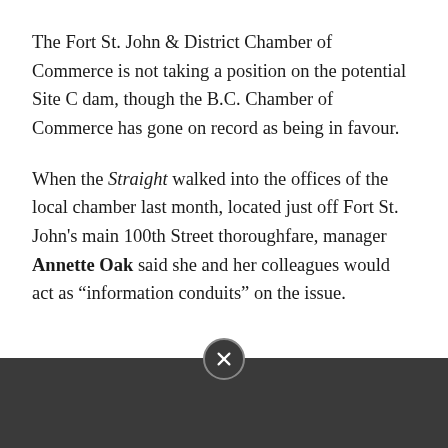The Fort St. John & District Chamber of Commerce is not taking a position on the potential Site C dam, though the B.C. Chamber of Commerce has gone on record as being in favour.
When the Straight walked into the offices of the local chamber last month, located just off Fort St. John's main 100th Street thoroughfare, manager Annette Oak said she and her colleagues would act as “information conduits” on the issue.